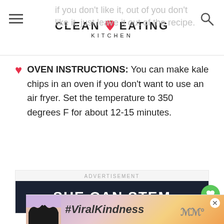CLEAN EATING KITCHEN
if you don't like it, just leave it out of the recipe.
OVEN INSTRUCTIONS: You can make kale chips in an oven if you don't want to use an air fryer. Set the temperature to 350 degrees F for about 12-15 minutes.
[Figure (screenshot): Advertisement banner for SHE CAN STEM with dark navy background and white bold text.]
[Figure (photo): Bottom advertisement banner showing hands making a heart silhouette with text #ViralKindness]